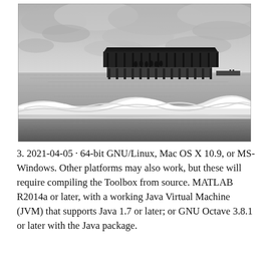[Figure (photo): Black and white photograph of a pier with a roofed pavilion structure extending over calm water, with waves breaking on the beach in the foreground and a cloudy sky above.]
3. 2021-04-05 · 64-bit GNU/Linux, Mac OS X 10.9, or MS-Windows. Other platforms may also work, but these will require compiling the Toolbox from source. MATLAB R2014a or later, with a working Java Virtual Machine (JVM) that supports Java 1.7 or later; or GNU Octave 3.8.1 or later with the Java package.